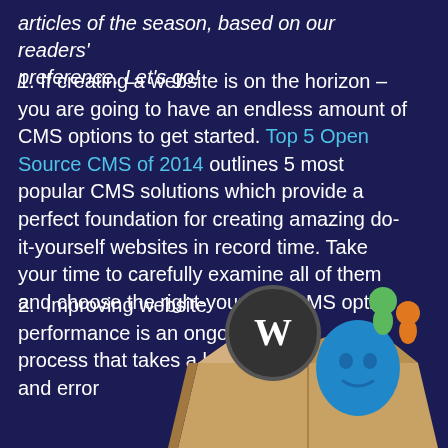articles of the season, based on our readers' preference. Let's go!
1. If creating a website is on the horizon – you are going to have an endless amount of CMS options to get started. Top 5 Open Source CMS of 2014 outlines 5 most popular CMS solutions which provide a perfect foundation for creating amazing do-it-yourself websites in record time. Take your time to carefully examine all of them and choose the right-your size CMS option.
2. Improving website performance is an ongoing process that takes a lot of trial and error
[Figure (illustration): CMS logos (WordPress, Drupal, Joomla, and others) spilling out of an open cardboard box]